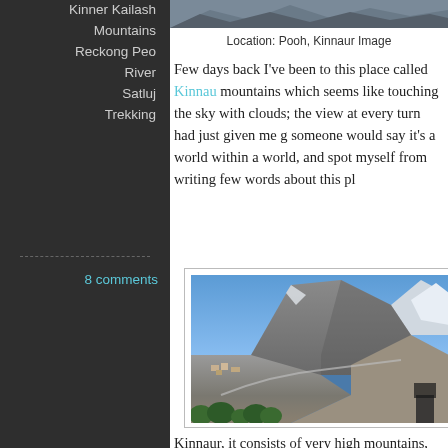Kinner Kailash
Mountains
Reckong Peo
River
Satluj
Trekking
8 comments
[Figure (photo): Partial top of a mountain photo, cropped at top of page]
Location: Pooh, Kinnaur Image
Few days back I've been to this place called Kinnaur mountains which seems like touching the sky with clouds; the view at every turn had just given me g someone would say it's a world within a world, and spot myself from writing few words about this pl
[Figure (photo): Mountain landscape photo showing rocky Himalayan mountains with blue sky, a valley below with some settlement visible, and green trees in the foreground. Text 'RETURN TOP' visible vertically on right side.]
Kinnaur, it consists of very high mountains, dee